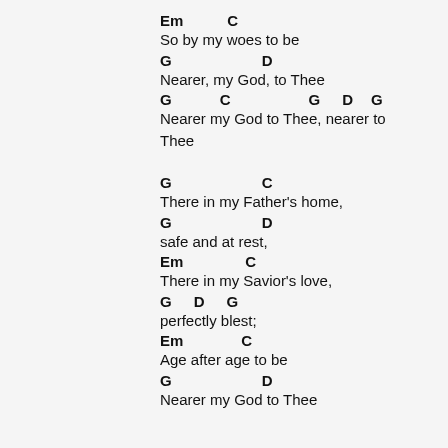Em        C
So by my woes to be
G              D
Nearer, my God, to Thee
G          C              G    D    G
Nearer my God to Thee, nearer to Thee
G              C
There in my Father's home,
G              D
safe and at rest,
Em             C
There in my Savior's love,
G    D    G
perfectly blest;
Em          C
Age after age to be
G              D
Nearer my God to Thee